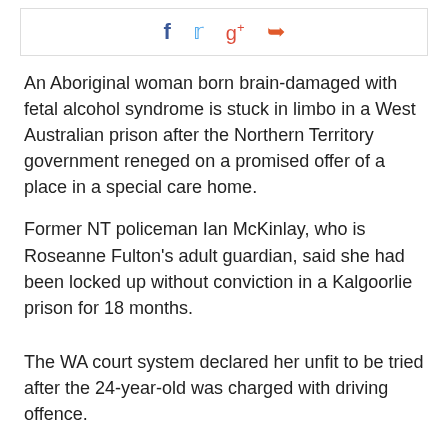[Figure (other): Social sharing bar with Facebook, Twitter, Google+, and share icons]
An Aboriginal woman born brain-damaged with fetal alcohol syndrome is stuck in limbo in a West Australian prison after the Northern Territory government reneged on a promised offer of a place in a special care home.
Former NT policeman Ian McKinlay, who is Roseanne Fulton's adult guardian, said she had been locked up without conviction in a Kalgoorlie prison for 18 months.
The WA court system declared her unfit to be tried after the 24-year-old was charged with driving offence.
She grew up in an abusive home in Alice Springs and spent her teenage years homeless and sleeping in a river bed, Mr McKinlay said.